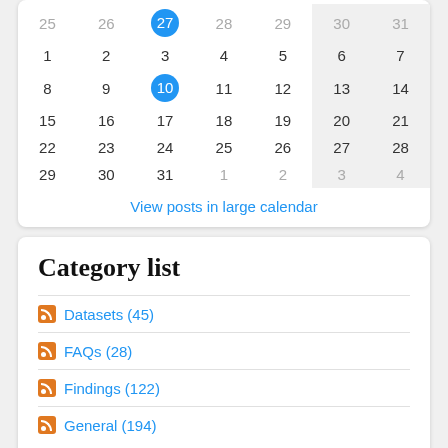[Figure (other): Bottom portion of a monthly calendar widget. Shows weeks with dates: row 1: 25(grey),26(grey),27(circled blue),28(grey),29(grey),30(weekend),31(weekend); row 2: 1,2,3,4,5,6(weekend),7(weekend); row 3: 8,9,10(circled blue),11,12,13(weekend),14(weekend); row 4: 15,16,17,18,19,20(weekend),21(weekend); row 5: 22,23,24,25,26,27(weekend),28(weekend); row 6: 29,30,31,1(grey),2(grey),3(grey weekend),4(grey weekend).]
View posts in large calendar
Category list
Datasets (45)
FAQs (28)
Findings (122)
General (194)